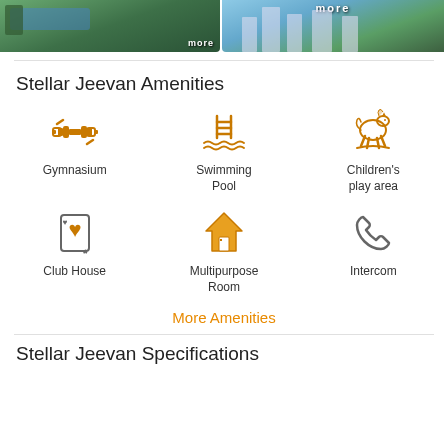[Figure (photo): Top portion showing two property photos side by side with 'more' overlay text]
Stellar Jeevan Amenities
[Figure (infographic): Grid of 6 amenity icons: Gymnasium (dumbbell), Swimming Pool, Children's play area (rocking horse), Club House (playing card), Multipurpose Room (house), Intercom (phone)]
More Amenities
Stellar Jeevan Specifications